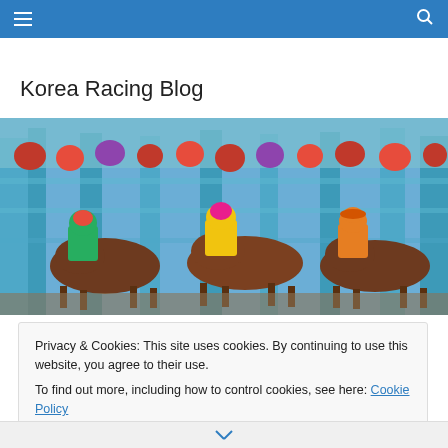Korea Racing Blog navigation bar
Korea Racing Blog
[Figure (photo): Horse racing starting gate scene with jockeys in colorful silks on brown horses, blue metal starting gates, crowd in background]
Privacy & Cookies: This site uses cookies. By continuing to use this website, you agree to their use.
To find out more, including how to control cookies, see here: Cookie Policy
Close and accept